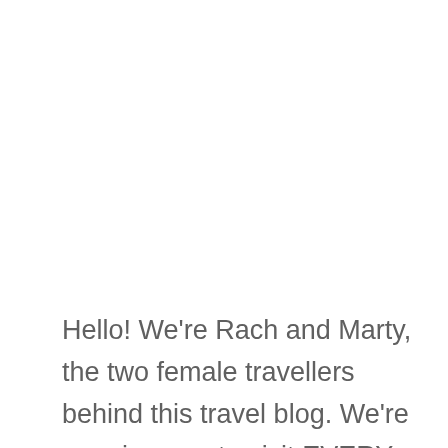Hello! We're Rach and Marty, the two female travellers behind this travel blog. We're on a journey to visit EVERY country in the world. Currently we've visited 100/195 countries...